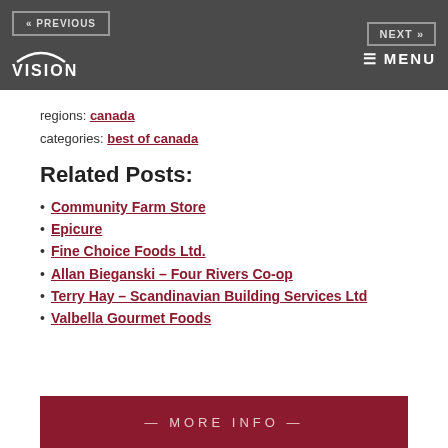« PREVIOUS | VISION | NEXT » ☰ MENU
regions: canada
categories: best of canada
Related Posts:
Community Farm Store
Epicure
Fine Choice Foods Ltd.
Allan Bieganski – Four Rivers Co-op
Terry Hay – Scandinavian Building Services Ltd
Valbella Gourmet Foods
— MORE INFO —